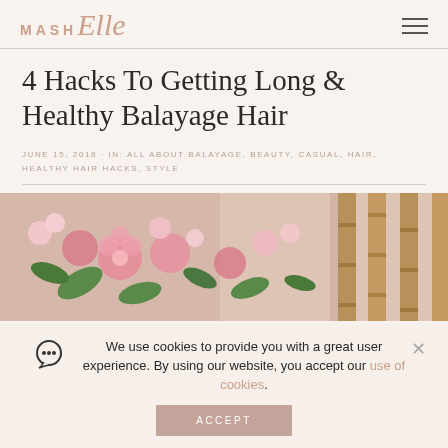MASH Elle — navigation header with hamburger menu
4 Hacks To Getting Long & Healthy Balayage Hair
JUNE 15, 2018 · IN: ALL ABOUT BALAYAGE, BEAUTY, CASUAL, HAIR, HEALTHY HAIR HACKS, STYLE
[Figure (photo): Pink and white flowers with green leaves against a textured wall background]
We use cookies to provide you with a great user experience. By using our website, you accept our use of cookies. ACCEPT